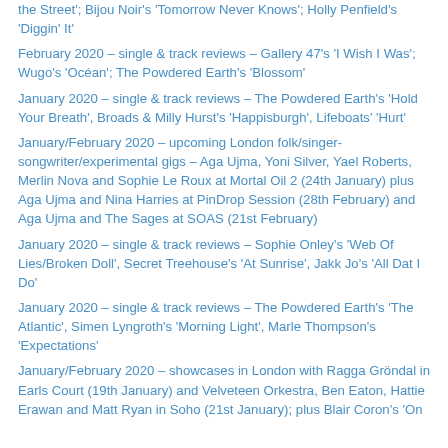the Street'; Bijou Noir's 'Tomorrow Never Knows'; Holly Penfield's 'Diggin' It'
February 2020 – single & track reviews – Gallery 47's 'I Wish I Was'; Wugo's 'Océan'; The Powdered Earth's 'Blossom'
January 2020 – single & track reviews – The Powdered Earth's 'Hold Your Breath', Broads & Milly Hurst's 'Happisburgh', Lifeboats' 'Hurt'
January/February 2020 – upcoming London folk/singer-songwriter/experimental gigs – Aga Ujma, Yoni Silver, Yael Roberts, Merlin Nova and Sophie Le Roux at Mortal Oil 2 (24th January) plus Aga Ujma and Nina Harries at PinDrop Session (28th February) and Aga Ujma and The Sages at SOAS (21st February)
January 2020 – single & track reviews – Sophie Onley's 'Web Of Lies/Broken Doll', Secret Treehouse's 'At Sunrise', Jakk Jo's 'All Dat I Do'
January 2020 – single & track reviews – The Powdered Earth's 'The Atlantic', Simen Lyngroth's 'Morning Light', Marle Thompson's 'Expectations'
January/February 2020 – showcases in London with Ragga Gröndal in Earls Court (19th January) and Velveteen Orkestra, Ben Eaton, Hattie Erawan and Matt Ryan in Soho (21st January); plus Blair Coron's 'On